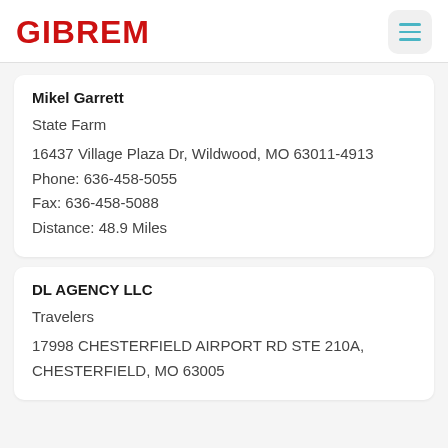GIBREM
Mikel Garrett

State Farm

16437 Village Plaza Dr, Wildwood, MO 63011-4913
Phone: 636-458-5055
Fax: 636-458-5088
Distance: 48.9 Miles
DL AGENCY LLC
Travelers

17998 CHESTERFIELD AIRPORT RD STE 210A, CHESTERFIELD, MO 63005